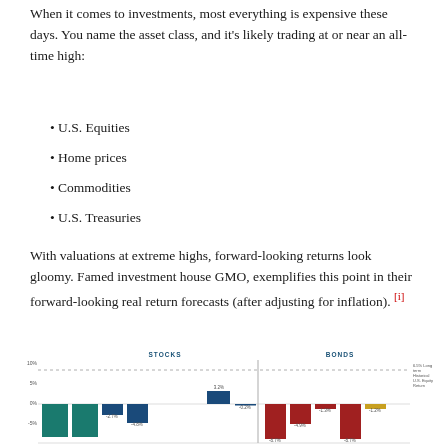When it comes to investments, most everything is expensive these days. You name the asset class, and it's likely trading at or near an all-time high:
U.S. Equities
Home prices
Commodities
U.S. Treasuries
With valuations at extreme highs, forward-looking returns look gloomy. Famed investment house GMO, exemplifies this point in their forward-looking real return forecasts (after adjusting for inflation). [i]
[Figure (bar-chart): STOCKS / BONDS]